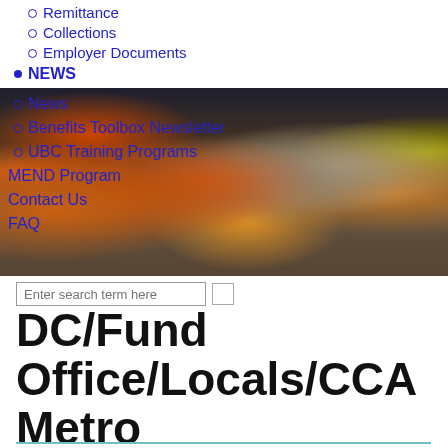Remittance
Collections
Employer Documents
NEWS
News
Benefits Toolbox Newsletter
UBC Training Programs
MEND Program
Contact Us
FAQ
[Figure (photo): Group photo of construction workers in orange safety vests and hard hats at a construction site]
Enter search term here
DC/Fund Office/Locals/CCA Metro
Members
Annuity